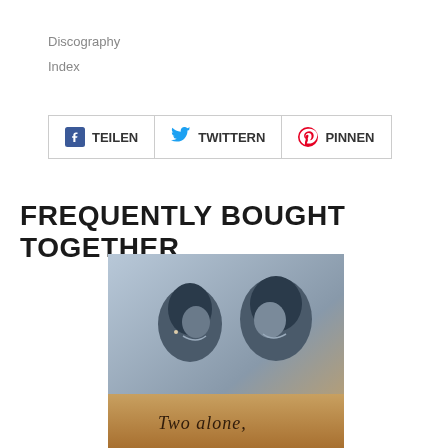Discography
Index
TEILEN  TWITTERN  PINNEN
FREQUENTLY BOUGHT TOGETHER
[Figure (photo): Black and white photo of a man and woman smiling together, with cursive text reading 'Two alone' at the bottom, appearing to be an album cover.]